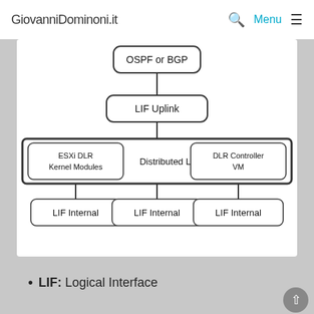GiovanniDominoni.it
[Figure (flowchart): Network diagram showing DLR (Distributed Logical Router) architecture. At top: OSPF or BGP box connected via line down to LIF Uplink box. LIF Uplink connects down to a wide box containing three components: ESXi DLR Kernel Modules (left), Distributed Logical Router (center), DLR Controller VM (right). Below that row are three separate boxes: LIF Internal (left), LIF Internal (center), LIF Internal (right).]
LIF: Logical Interface
VXLAN Components
[Figure (schematic): VXLAN components diagram showing two VM/vNIC boxes at top connected down to a VXLAN Logical Switch / Segment ID aka VNI bar, with a vDS bar below it, and VTEP/VMKernel boxes and ESXi boxes at the bottom.]